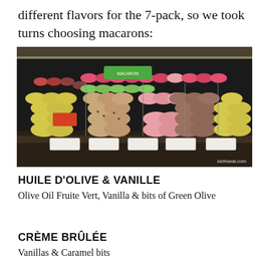different flavors for the 7-pack, so we took turns choosing macarons:
[Figure (photo): Display case filled with rows of colorful macarons in various flavors including yellow, pink, brown, green, and more, with small label cards in front. Watermark reads sixthseal.com]
HUILE D'OLIVE & VANILLE
Olive Oil Fruite Vert, Vanilla & bits of Green Olive
CRÈME BRÛLÉE
Vanillas & Caramel bits